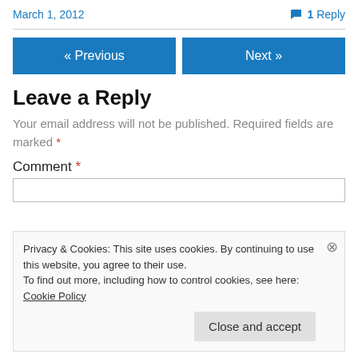March 1, 2012
1 Reply
« Previous
Next »
Leave a Reply
Your email address will not be published. Required fields are marked *
Comment *
Privacy & Cookies: This site uses cookies. By continuing to use this website, you agree to their use.
To find out more, including how to control cookies, see here: Cookie Policy
Close and accept